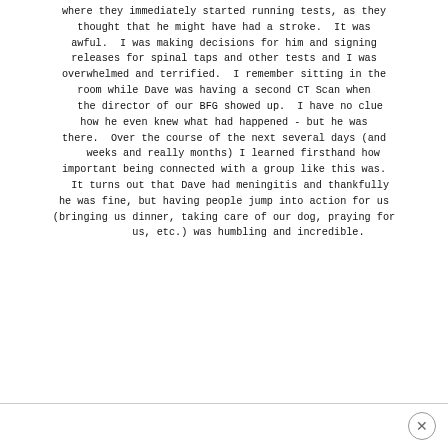where they immediately started running tests, as they thought that he might have had a stroke. It was awful. I was making decisions for him and signing releases for spinal taps and other tests and I was overwhelmed and terrified. I remember sitting in the room while Dave was having a second CT Scan when the director of our BFG showed up. I have no clue how he even knew what had happened - but he was there. Over the course of the next several days (and weeks and really months) I learned firsthand how important being connected with a group like this was. It turns out that Dave had meningitis and thankfully he was fine, but having people jump into action for us (bringing us dinner, taking care of our dog, praying for us, etc.) was humbling and incredible.